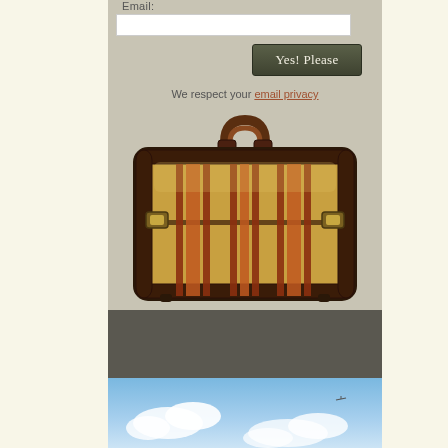Email:
Yes! Please
We respect your email privacy
[Figure (illustration): A vintage tan/yellow fabric suitcase with brown leather trim, dark brown frame edges, decorative red and brown vertical stripes, and a brown leather handle on top. The suitcase has small feet at the bottom and metal clasp details.]
[Figure (photo): Blue sky with clouds and a small bird or airplane visible in the distance.]